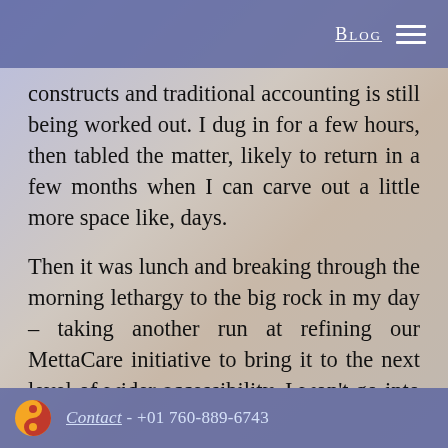Blog
constructs and traditional accounting is still being worked out. I dug in for a few hours, then tabled the matter, likely to return in a few months when I can carve out a little more space like, days.
Then it was lunch and breaking through the morning lethargy to the big rock in my day – taking another run at refining our MettaCare initiative to bring it to the next level of wider accessibility. I won't go into details here as this is truly not the platform for that, however just to say that after three hours of intensive brain gymnastics, I came
Contact - +01 760-889-6743